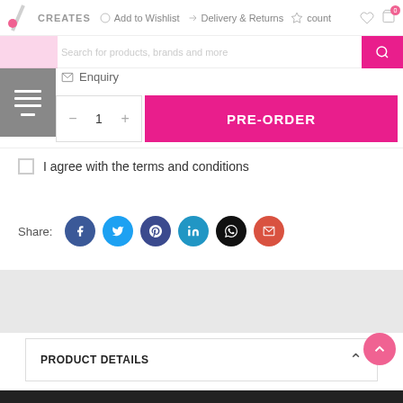CREATES  Add to Wishlist  Delivery & Returns  count
Enquiry
Search for products, brands and more
PRE-ORDER
I agree with the terms and conditions
Share:
PRODUCT DETAILS